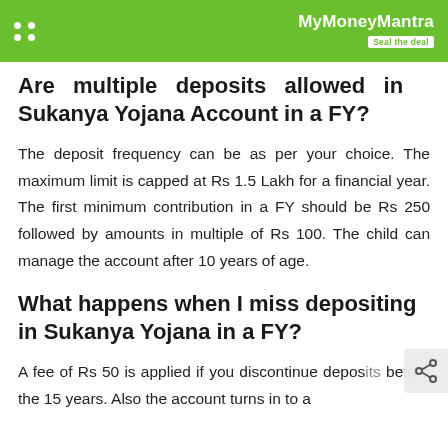MyMoneyMantra Seal the deal
Are multiple deposits allowed in Sukanya Yojana Account in a FY?
The deposit frequency can be as per your choice. The maximum limit is capped at Rs 1.5 Lakh for a financial year. The first minimum contribution in a FY should be Rs 250 followed by amounts in multiple of Rs 100. The child can manage the account after 10 years of age.
What happens when I miss depositing in Sukanya Yojana in a FY?
A fee of Rs 50 is applied if you discontinue deposits before the 15 years. Also the account turns in to a